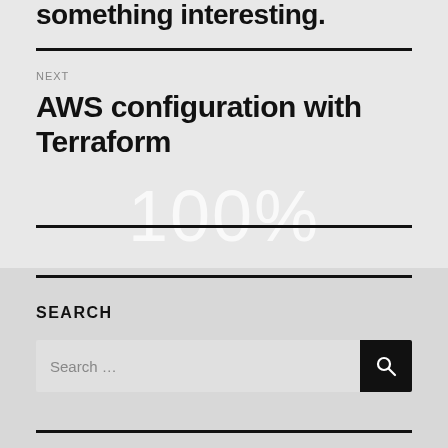something interesting.
NEXT
AWS configuration with Terraform
100%
SEARCH
Search …